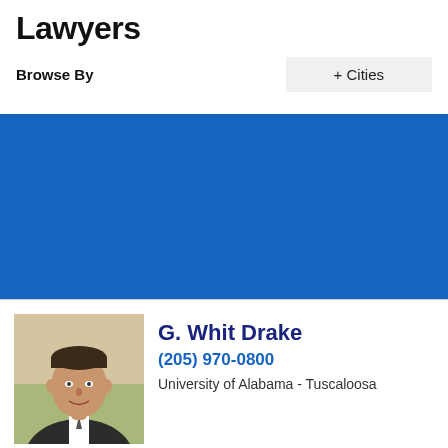Lawyers
Browse By   + Cities
[Figure (other): Blue banner advertisement area]
[Figure (photo): Headshot photo of G. Whit Drake, a man in a suit smiling]
G. Whit Drake
(205) 970-0800
University of Alabama - Tuscaloosa
website
profile
email